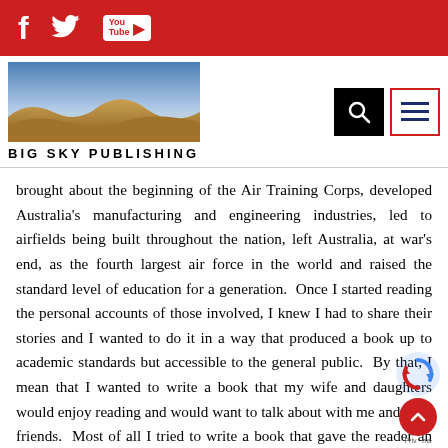Big Sky Publishing — social media bar with Facebook, Twitter, YouTube icons
[Figure (screenshot): Big Sky Publishing website header with desert landscape photo, site title BIG SKY PUBLISHING, search button and hamburger menu button]
brought about the beginning of the Air Training Corps, developed Australia's manufacturing and engineering industries, led to airfields being built throughout the nation, left Australia, at war's end, as the fourth largest air force in the world and raised the standard level of education for a generation.  Once I started reading the personal accounts of those involved, I knew I had to share their stories and I wanted to do it in a way that produced a book up to academic standards but accessible to the general public.  By that, I mean that I wanted to write a book that my wife and daughters would enjoy reading and would want to talk about with me and their friends.  Most of all I tried to write a book that gave the reader an insight into life in the Empire Air Training Scheme, from recruitment through training and on to deployment in the war.  I want the reader to feel the trials, celebrate the triumphs and empathise with the ordinary men and women that performed an extraordinary task when times demanded